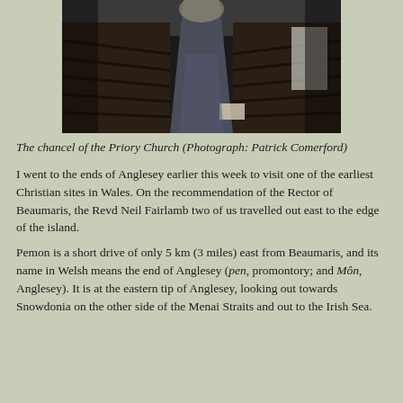[Figure (photo): Interior photograph of the chancel of a church, showing wooden pews on either side of a central aisle leading towards the altar, dimly lit with light coming from the far end.]
The chancel of the Priory Church (Photograph: Patrick Comerford)
I went to the ends of Anglesey earlier this week to visit one of the earliest Christian sites in Wales. On the recommendation of the Rector of Beaumaris, the Revd Neil Fairlamb two of us travelled out east to the edge of the island.
Pemon is a short drive of only 5 km (3 miles) east from Beaumaris, and its name in Welsh means the end of Anglesey (pen, promontory; and Môn, Anglesey). It is at the eastern tip of Anglesey, looking out towards Snowdonia on the other side of the Menai Straits and out to the Irish Sea.